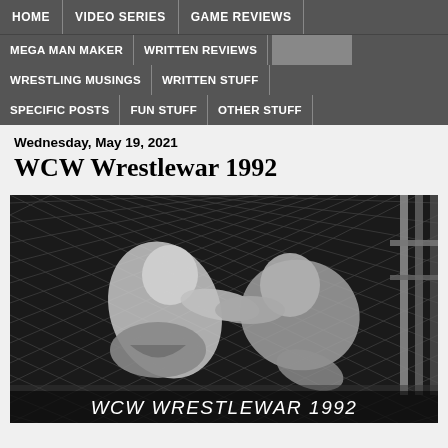HOME | VIDEO SERIES | GAME REVIEWS | MEGA MAN MAKER | WRITTEN REVIEWS | WRESTLING MUSINGS | WRITTEN STUFF | SPECIFIC POSTS | FUN STUFF | OTHER STUFF
Wednesday, May 19, 2021
WCW Wrestlewar 1992
[Figure (photo): Black and white photo of two wrestlers grappling in a cage match, with text overlay 'WCW WRESTLEWAR 1992' at the bottom]